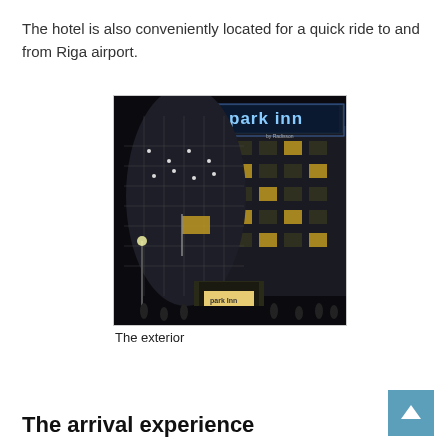The hotel is also conveniently located for a quick ride to and from Riga airport.
[Figure (photo): Night-time exterior photo of Park Inn by Radisson hotel building with illuminated blue sign on top and Christmas light decorations on the facade]
The exterior
The arrival experience